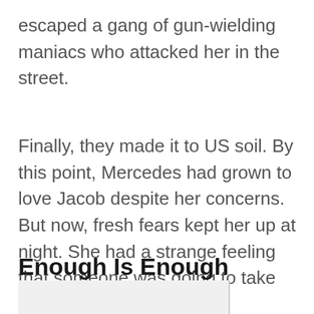escaped a gang of gun-wielding maniacs who attacked her in the street.
Finally, they made it to US soil. By this point, Mercedes had grown to love Jacob despite her concerns. But now, fresh fears kept her up at night. She had a strange feeling that someone was going to take Jacob away from her.
Enough Is Enough
[Figure (other): Partial image visible at bottom of page, cropped]